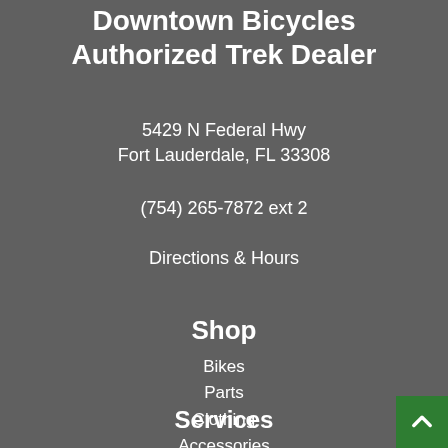Downtown Bicycles Authorized Trek Dealer
5429 N Federal Hwy
Fort Lauderdale, FL 33308
(754) 265-7872 ext 2
Directions & Hours
Shop
Bikes
Parts
Clothing
Accessories
Services